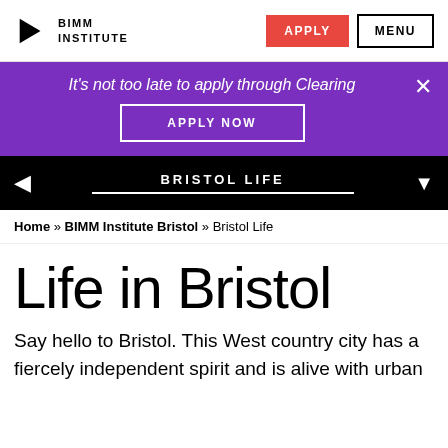BIMM INSTITUTE | APPLY | MENU
It's not too late to apply through Clearing
APPLY NOW
BRISTOL LIFE
Home » BIMM Institute Bristol » Bristol Life
Life in Bristol
Say hello to Bristol. This West country city has a fiercely independent spirit and is alive with urban